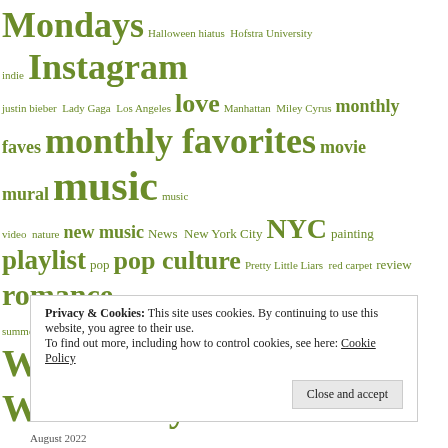[Figure (other): Tag cloud with words of varying sizes in olive/green color: Mondays, Halloween hiatus, Hofstra University, indie, Instagram, justin bieber, Lady Gaga, Los Angeles, love, Manhattan, Miley Cyrus, monthly, faves, monthly favorites, movie, mural, music, music video, nature, new music, News, New York City, NYC, painting, playlist, pop, pop culture, Pretty Little Liars, red carpet, review, romance, sculpture, sketch, song, songs, spring, steal her style, style, summer, Taylor Swift, temporary hiatus, TV, Twitter, UK, vinyl, Wardrobe Wednesdays, winter, YouTube]
Privacy & Cookies: This site uses cookies. By continuing to use this website, you agree to their use. To find out more, including how to control cookies, see here: Cookie Policy
August 2022